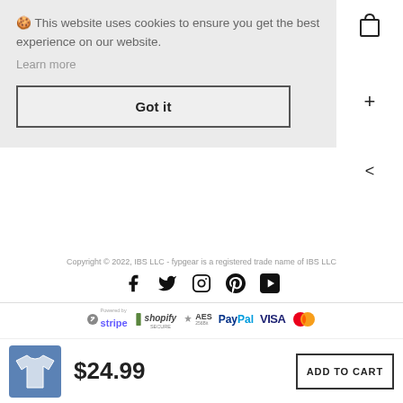🍪 This website uses cookies to ensure you get the best experience on our website.
Learn more
Got it
[Figure (other): Shopping bag icon]
[Figure (other): Plus icon]
[Figure (other): Left arrow icon]
Copyright © 2022, IBS LLC - fypgear is a registered trade name of IBS LLC
[Figure (other): Social media icons: Facebook, Twitter, Instagram, Pinterest, YouTube]
[Figure (other): Payment badges: stripe, shopify SECURE, AES 256Bit, PayPal, VISA, Mastercard]
[Figure (other): Blue t-shirt product thumbnail]
$24.99
ADD TO CART